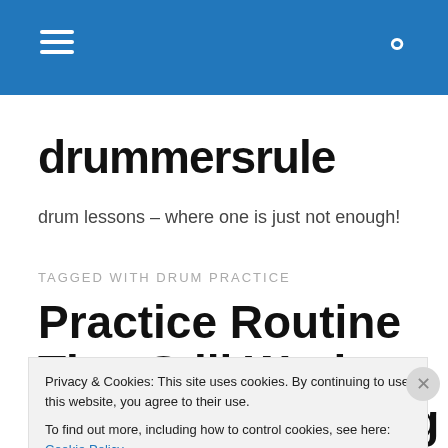drummersrule — navigation bar with hamburger menu and search icon
drummersrule
drum lessons – where one is just not enough!
TAGGED WITH DRUM PRACTICE
Practice Routine That Still Works – a Great Drumming
Privacy & Cookies: This site uses cookies. By continuing to use this website, you agree to their use. To find out more, including how to control cookies, see here: Cookie Policy